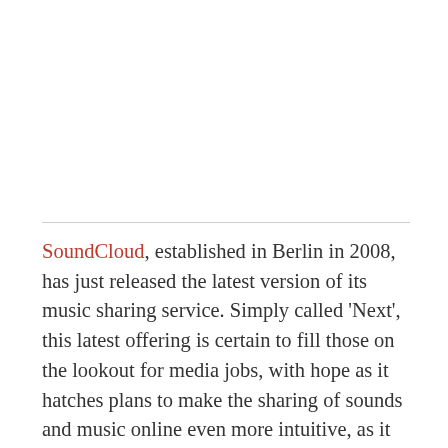SoundCloud, established in Berlin in 2008, has just released the latest version of its music sharing service. Simply called 'Next', this latest offering is certain to fill those on the lookout for media jobs, with hope as it hatches plans to make the sharing of sounds and music online even more intuitive, as it adds improved recommendations, search and discovery and automatic follows generated by the social media platforms they connect with. In fact it's